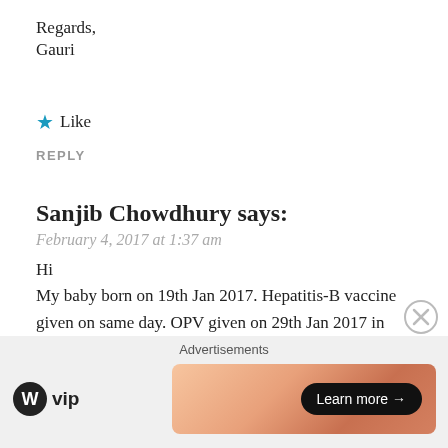Regards,
Gauri
★ Like
REPLY
Sanjib Chowdhury says:
February 4, 2017 at 1:37 am
Hi
My baby born on 19th Jan 2017. Hepatitis-B vaccine given on same day. OPV given on 29th Jan 2017 in pulse polio program, BCG vaccine given on 3rd Feb 2017. Doctor has called on 6th March 2017 for OPV & PENTAVAC vaccine.
Is that Ok? But I know hepatitis is given in 0........ 1 ...... 6 formulation. Kindly advise....
Advertisements